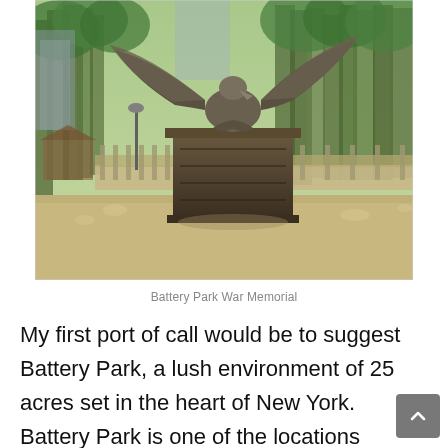[Figure (photo): Outdoor photograph of a bronze eagle war memorial statue on a large dark stone pedestal in Battery Park, New York. The statue shows an eagle with spread wings perched on a base. Trees and buildings are visible in the background, along with a stone balustrade.]
Battery Park War Memorial
My first port of call would be to suggest Battery Park, a lush environment of 25 acres set in the heart of New York. Battery Park is one of the locations where you can catch the ferry to Staten Island, but the reason why this park is so special is because you have a glorious view over the New